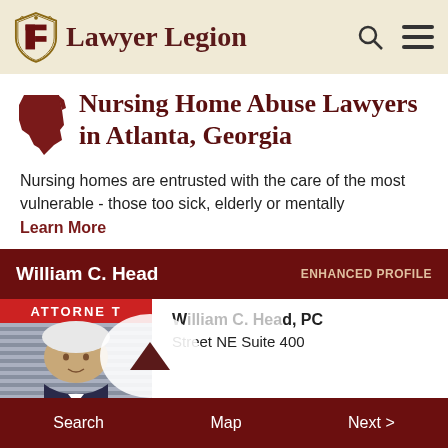Lawyer Legion
Nursing Home Abuse Lawyers in Atlanta, Georgia
Nursing homes are entrusted with the care of the most vulnerable - those too sick, elderly or mentally
Learn More
William C. Head  ENHANCED PROFILE
[Figure (photo): Attorney photo with sign reading ATTORNEY at top]
W...d, PC
Street NE Suite 400
Search  Map  Next >